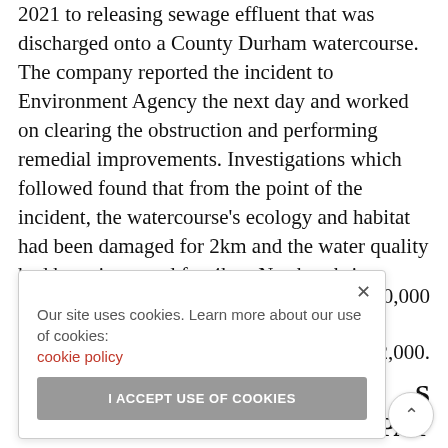2021 to releasing sewage effluent that was discharged onto a County Durham watercourse. The company reported the incident to Environment Agency the next day and worked on clearing the obstruction and performing remedial improvements. Investigations which followed found that from the point of the incident, the watercourse's ecology and habitat had been damaged for 2km and the water quality had been impacted for 4km. Northumbrian Water was [sentenced/ordered to pay] a fine of £540,000 [and ordered to pay costs of] £142,000.
Our site uses cookies. Learn more about our use of cookies: cookie policy
I ACCEPT USE OF COOKIES
S
O PAY